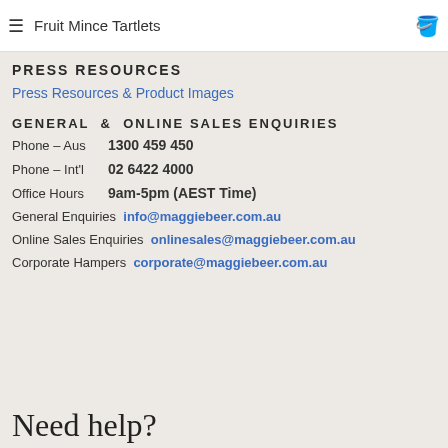≡  Fruit Mince Tartlets
PRESS RESOURCES
Press Resources & Product Images
GENERAL & ONLINE SALES ENQUIRIES
Phone – Aus   1300 459 450
Phone – Int'l   02 6422 4000
Office Hours   9am-5pm (AEST Time)
General Enquiries  info@maggiebeer.com.au
Online Sales Enquiries  onlinesales@maggiebeer.com.au
Corporate Hampers  corporate@maggiebeer.com.au
Need help?